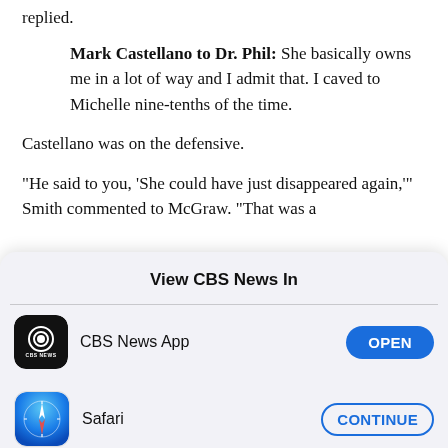replied.
Mark Castellano to Dr. Phil: She basically owns me in a lot of way and I admit that. I caved to Michelle nine-tenths of the time.
Castellano was on the defensive.
"He said to you, 'She could have just disappeared again,'" Smith commented to McGraw. "That was a
View CBS News In
[Figure (logo): CBS News app icon - black background with CBS eye logo and CBS NEWS text]
CBS News App
[Figure (logo): Safari browser icon - blue gradient circle with compass/arrow graphic]
Safari